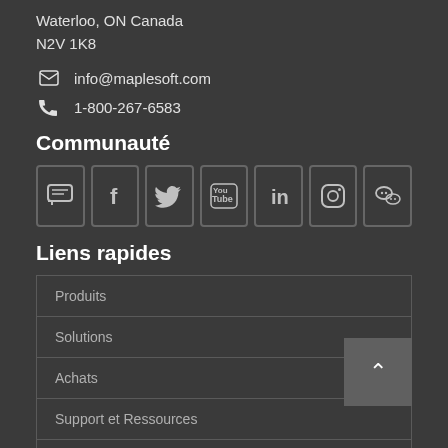Waterloo, ON Canada
N2V 1K8
1-800-267-6583
info@maplesoft.com
Communauté
[Figure (other): Row of 7 social media icon buttons: chat/forum, Facebook, Twitter, YouTube, LinkedIn, Instagram, WeChat]
Liens rapides
Produits
Solutions
Achats
Support et Ressources
Entreprise